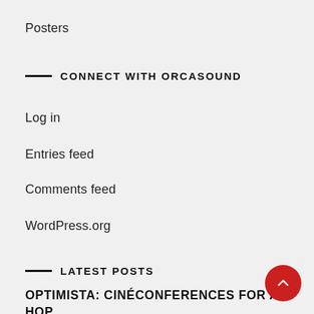Posters
CONNECT WITH ORCASOUND
Log in
Entries feed
Comments feed
WordPress.org
LATEST POSTS
OPTIMISTA: CINÉCONFERENCES FOR A HOPEFUL TOMORROW